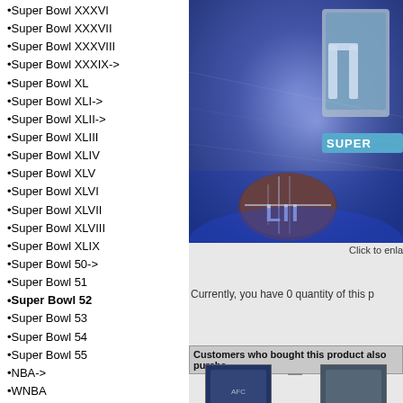•Super Bowl XXXVI
•Super Bowl XXXVII
•Super Bowl XXXVIII
•Super Bowl XXXIX->
•Super Bowl XL
•Super Bowl XLI->
•Super Bowl XLII->
•Super Bowl XLIII
•Super Bowl XLIV
•Super Bowl XLV
•Super Bowl XLVI
•Super Bowl XLVII
•Super Bowl XLVIII
•Super Bowl XLIX
•Super Bowl 50->
•Super Bowl 51
•Super Bowl 52
•Super Bowl 53
•Super Bowl 54
•Super Bowl 55
•NBA->
•WNBA
•NHL->
•Player Pins->
•50% Off
•World Baseball Classic
•Disney
•Flag & Peace Pins
•Press Pins
•Pro Bowl
•Pin Bags, Gifts
•Tennis / Golf / Etc
[Figure (photo): Super Bowl LII collectible pin product photo with football and trophy imagery on purple/blue holographic background]
Click to enla
Currently, you have 0 quantity of this p
[Figure (infographic): Reviews button with blue rounded rectangle style]
Customers who bought this product also purcha
[Figure (photo): Patriots AFC Champs pin thumbnail]
Patriots AFC Champs pin
Patriots AFC C... Rectangle p...